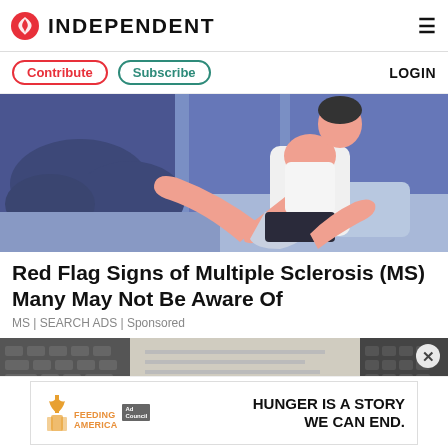INDEPENDENT
Contribute | Subscribe | LOGIN
[Figure (illustration): Stylised illustration of a person in a white tank top sitting/reclining on a blue couch or bed, with legs raised, in a blue-toned room with dark clouds visible through a window. Art style is flat vector with pink skin tones and blue/purple palette.]
Red Flag Signs of Multiple Sclerosis (MS) Many May Not Be Aware Of
MS | SEARCH ADS | Sponsored
[Figure (photo): Partial photo of what appears to be a keyboard and papers/documents on a desk surface, black and white tones.]
HUNGER IS A STORY WE CAN END.